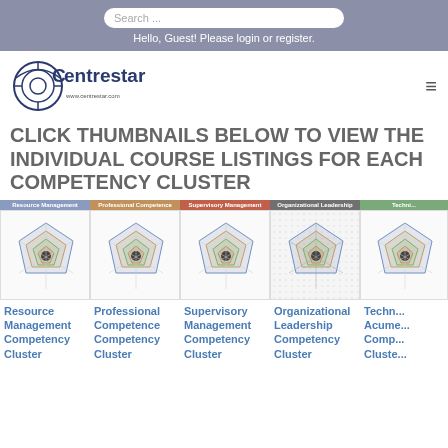Search ... | Hello, Guest! Please login or register.
[Figure (logo): Centrestar logo with circular target icon and www.centrestar.com URL]
CLICK THUMBNAILS BELOW TO VIEW THE INDIVIDUAL COURSE LISTINGS FOR EACH COMPETENCY CLUSTER
[Figure (screenshot): Five competency cluster thumbnail images showing radar/spider charts: Resource Management, Professional Competence, Supervisory Management, Organizational Leadership, Technical Acumen]
Resource Management Competency Cluster  Professional Competence Competency Cluster  Supervisory Management Competency Cluster  Organizational Leadership Competency Cluster  Technical Acumen Competency Cluster